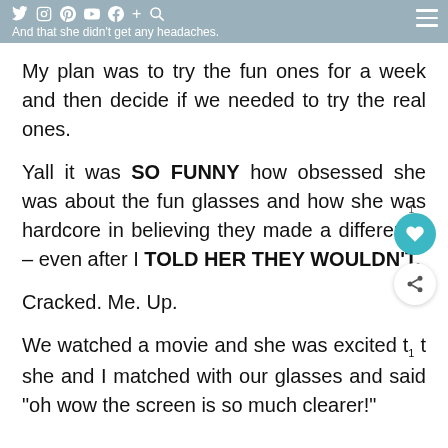And that she didn't get any headaches.
My plan was to try the fun ones for a week and then decide if we needed to try the real ones.
Yall it was SO FUNNY how obsessed she was about the fun glasses and how she was hardcore in believing they made a difference – even after I TOLD HER THEY WOULDN'T.
Cracked. Me. Up.
We watched a movie and she was excited that she and I matched with our glasses and said "oh wow the screen is so much clearer!"